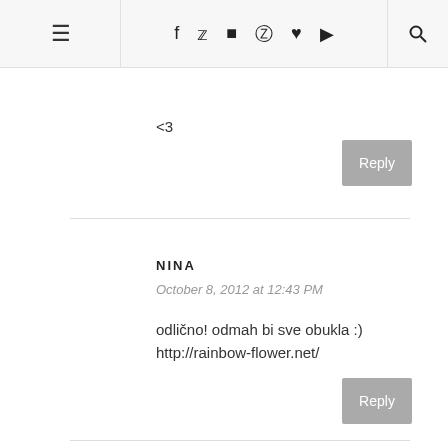≡ f t [instagram] p ♥ [youtube] [search]
<3
Reply
NINA
October 8, 2012 at 12:43 PM
odlično! odmah bi sve obukla :)
http://rainbow-flower.net/
Reply
GLAM MANIA